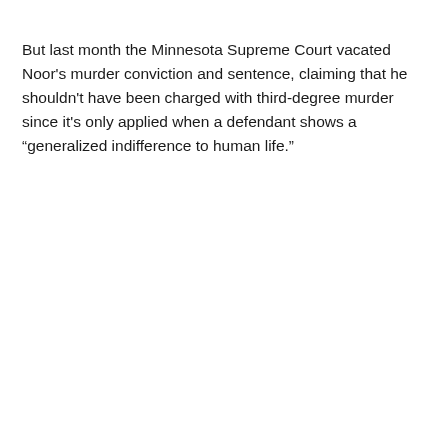But last month the Minnesota Supreme Court vacated Noor's murder conviction and sentence, claiming that he shouldn't have been charged with third-degree murder since it's only applied when a defendant shows a “generalized indifference to human life.”